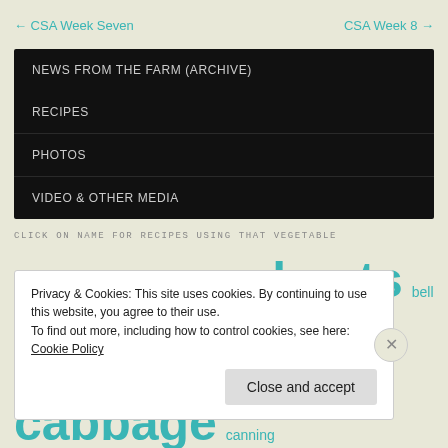← CSA Week Seven    CSA Week 8 →
NEWS FROM THE FARM (ARCHIVE)
RECIPES
PHOTOS
VIDEO & OTHER MEDIA
CLICK ON NAME FOR RECIPES USING THAT VEGETABLE
arugula basil beet greens beets bell pepper bok choy broccoli brussels sprouts cabbage canning carrots
Privacy & Cookies: This site uses cookies. By continuing to use this website, you agree to their use. To find out more, including how to control cookies, see here: Cookie Policy
Close and accept